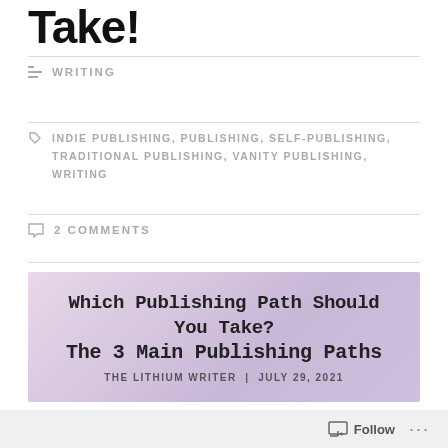Take!
WRITING
INDIE PUBLISHING, PUBLISHING, SELF-PUBLISHING, TRADITIONAL PUBLISHING, VANITY PUBLISHING, WRITING
2 COMMENTS
[Figure (illustration): Blog post featured image with lavender/pink gradient background. Title reads: 'Which Publishing Path Should You Take? The 3 Main Publishing Paths' with byline 'THE LITHIUM WRITER | JULY 29, 2021']
So, you’ve written a novel. It’s been cleaned up, scrubbed until its skin is raw, edited, and polished